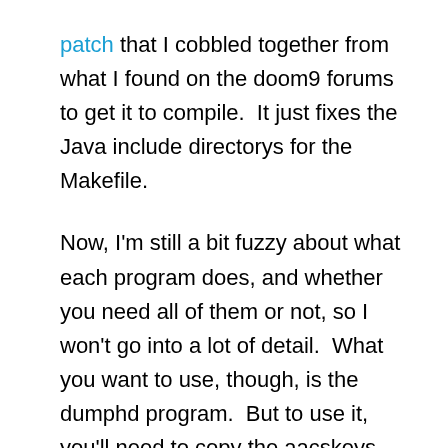patch that I cobbled together from what I found on the doom9 forums to get it to compile.  It just fixes the Java include directorys for the Makefile.
Now, I'm still a bit fuzzy about what each program does, and whether you need all of them or not, so I won't go into a lot of detail.  What you want to use, though, is the dumphd program.  But to use it, you'll need to copy the aacskeys library and a file from the bdvmdbg package as well into the path or same directory as the dumphd program.
Once you have that, you can just run dumphd.sh and it'll fire up a simple little GUI telling you if it has all the libraries it needs.  Then you can just see if the...